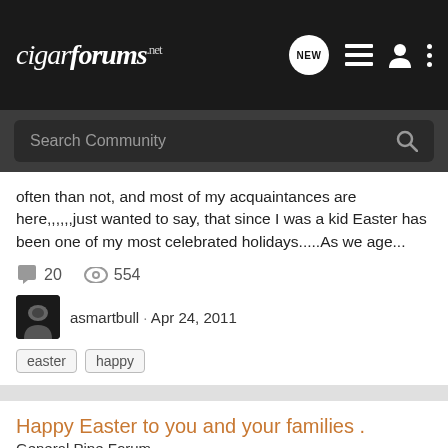cigarforums.net
Search Community
often than not, and most of my acquaintances are here,,,,,,just wanted to say, that since I was a kid Easter has been one of my most celebrated holidays.....As we age...
20  554
asmartbull · Apr 24, 2011
easter
happy
Happy Easter to you and your families .
General Pipe Forum
Good Morning Folks :) I just wanted to take a moment to wish you all the joy and happiness of Easter. May God Bless you and your families. With Love and fellowship , - Vin and on a lighter note.... :lol: